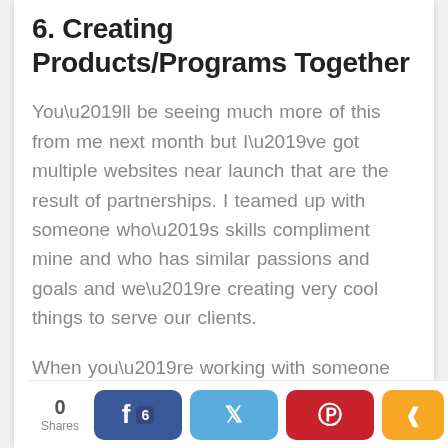6.  Creating Products/Programs Together
You’ll be seeing much more of this from me next month but I’ve got multiple websites near launch that are the result of partnerships.  I teamed up with someone who’s skills compliment mine and who has similar passions and goals and we’re creating very cool things to serve our clients.
When you’re working with someone else you both gain skills and insights that you couldn’t have if you’d been working alone.  You’ve also got built in accountability and motivation to get things done (often a challenge for solo-entrepreneurs).
0 Shares  [Facebook 6] [Twitter] [Pinterest] [Share]